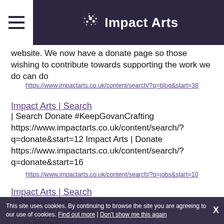Impact Arts
website. We now have a donate page so those wishing to contribute towards supporting the work we do can do
https://www.impactarts.co.uk/content/search/?q=blog&start=38
Impact Arts | Search
| Search Donate #KeepGovanCrafting https://www.impactarts.co.uk/content/search/?q=donate&start=12 Impact Arts | Donate https://www.impactarts.co.uk/content/search/?q=donate&start=16
https://www.impactarts.co.uk/content/search/?q=jobs&start=10
Impact Arts | Search
| Search Donate #KeepGovanCrafting https://www.impactarts.co.uk/content/search/?q=donate&start=?
This site uses cookies. By continuing to browse the site you are agreeing to our use of cookies. Find out more | Don't show me this again